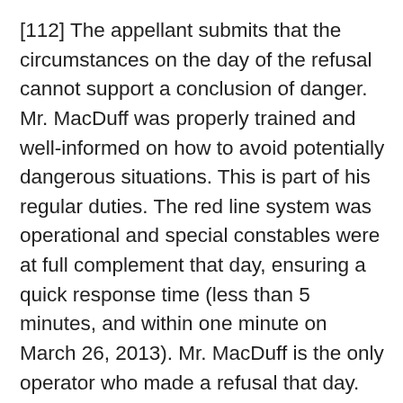[112] The appellant submits that the circumstances on the day of the refusal cannot support a conclusion of danger. Mr. MacDuff was properly trained and well-informed on how to avoid potentially dangerous situations. This is part of his regular duties. The red line system was operational and special constables were at full complement that day, ensuring a quick response time (less than 5 minutes, and within one minute on March 26, 2013). Mr. MacDuff is the only operator who made a refusal that day.